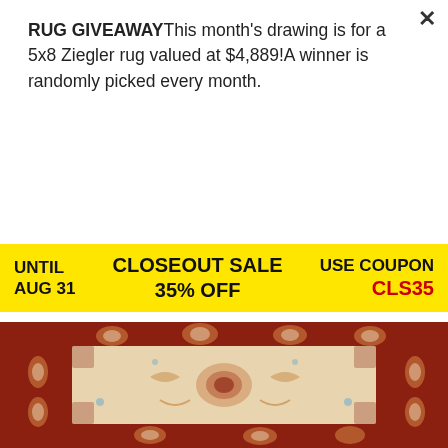RUG GIVEAWAYThis month's drawing is for a 5x8 Ziegler rug valued at $4,889!A winner is randomly picked every month.
×
ENTER TO WIN!
UNTIL AUG 31   CLOSEOUT SALE 35% OFF   USE COUPON CLS35
[Figure (photo): Close-up photo of a Ziegler rug with cream center field and dark red border featuring floral and leaf motifs]